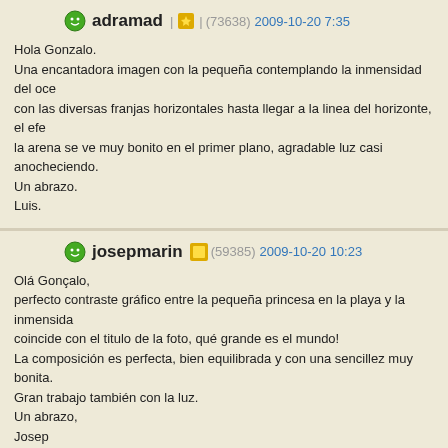adramad | ★ | (73638) 2009-10-20 7:35
Hola Gonzalo.
Una encantadora imagen con la pequeña contemplando la inmensidad del oce...
con las diversas franjas horizontales hasta llegar a la linea del horizonte, el efe...
la arena se ve muy bonito en el primer plano, agradable luz casi anocheciendo.
Un abrazo.
Luis.
josepmarin ★ (59385) 2009-10-20 10:23
Olá Gonçalo,
perfecto contraste gráfico entre la pequeña princesa en la playa y la inmensida...
coincide con el titulo de la foto, qué grande es el mundo!
La composición es perfecta, bien equilibrada y con una sencillez muy bonita.
Gran trabajo también con la luz.
Un abrazo,
Josep
PS: cómo van creciendo , verdad?
Cricri | ★ | (176) 2009-10-20 12:04
Hola Congalo
Une photo superbe a mes yeux pour sa composition et la scéne qu'elle represe...
Friondship.